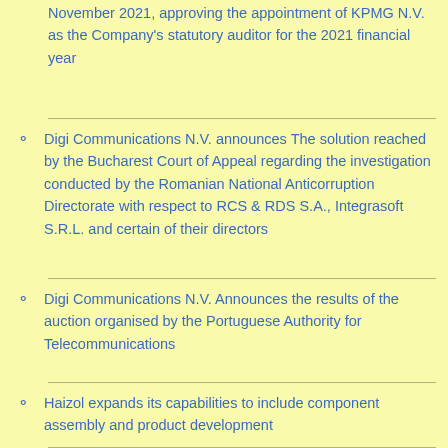November 2021, approving the appointment of KPMG N.V. as the Company's statutory auditor for the 2021 financial year
Digi Communications N.V. announces The solution reached by the Bucharest Court of Appeal regarding the investigation conducted by the Romanian National Anticorruption Directorate with respect to RCS & RDS S.A., Integrasoft S.R.L. and certain of their directors
Digi Communications N.V. Announces the results of the auction organised by the Portuguese Authority for Telecommunications
Haizol expands its capabilities to include component assembly and product development